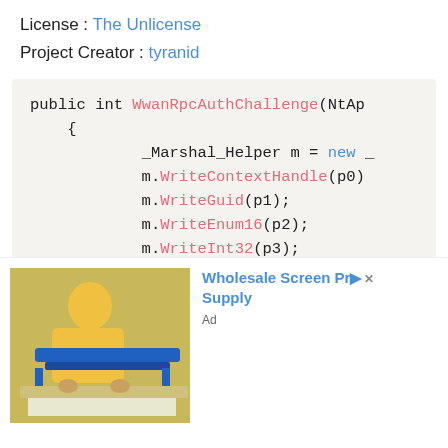License : The Unlicense
Project Creator : tyranid
[Figure (screenshot): Code block showing a C# method signature 'public int WwanRpcAuthChallenge(NtAp' with curly brace opening, then multiple lines: '_Marshal_Helper m = new _', 'm.WriteContextHandle(p0)', 'm.WriteGuid(p1);', 'm.WriteEnum16(p2);', 'm.WriteInt32(p3);', 'm.Write_17(NtApiDotNet.W:', 'm.WriteReferent(p5, new S', 'm.WriteReferent(p6, new S']
[Figure (photo): Advertisement banner showing a person in yellow clothing working with a blue screen printing frame, with text 'Wholesale Screen Pr... Supply' in blue and 'Ad' label]